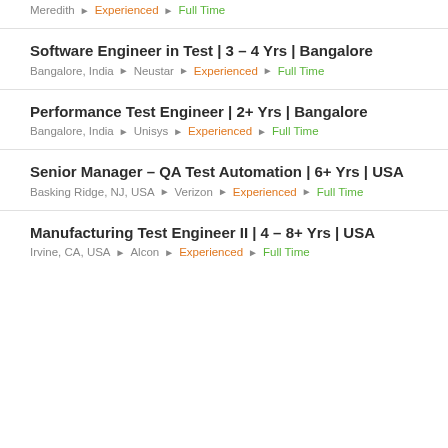Meredith ▶ Experienced ▶ Full Time
Software Engineer in Test | 3 – 4 Yrs | Bangalore
Bangalore, India ▶ Neustar ▶ Experienced ▶ Full Time
Performance Test Engineer | 2+ Yrs | Bangalore
Bangalore, India ▶ Unisys ▶ Experienced ▶ Full Time
Senior Manager – QA Test Automation | 6+ Yrs | USA
Basking Ridge, NJ, USA ▶ Verizon ▶ Experienced ▶ Full Time
Manufacturing Test Engineer II | 4 – 8+ Yrs | USA
Irvine, CA, USA ▶ Alcon ▶ Experienced ▶ Full Time